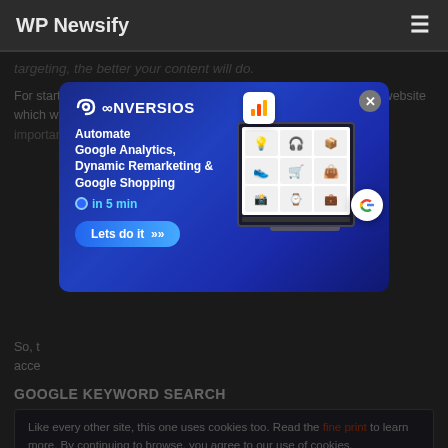WP Newsify
targeting, the better your content will do.
For starters, if you want to be sure that you will make a deal with a website which will post your content, don't settle for less. niche is extremely important and you have to spend to get
[Figure (screenshot): Conversios ad modal: Automate Google Analytics, Dynamic Remarketing & Google Shopping in 5 min. 'Lets do it' button. Shows a laptop with product grid and Google badge.]
So, that content accessible
GOOGLE KEYWORD SEARCH
Like every other site, this one uses cookies too. Read the fine print to learn more. By continuing to browse, you agree to our use of cookies.
target keyword + guest posts